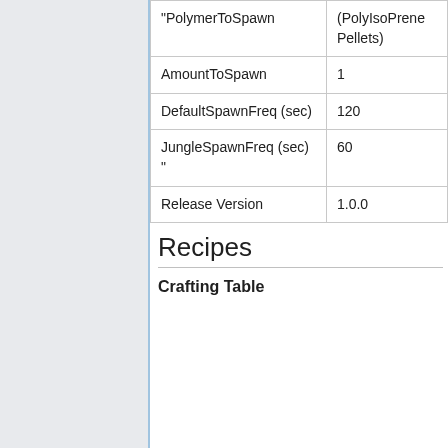|  |  |
| --- | --- |
| "PolymerToSpawn | (PolyIsoPrene Pellets) |
| AmountToSpawn | 1 |
| DefaultSpawnFreq (sec) | 120 |
| JungleSpawnFreq (sec) " | 60 |
| Release Version | 1.0.0 |
Recipes
Crafting Table
| Outputs ⇕ | Components ⇕ |  |
| --- | --- | --- |
| • Tree | • Wood Planks |  |